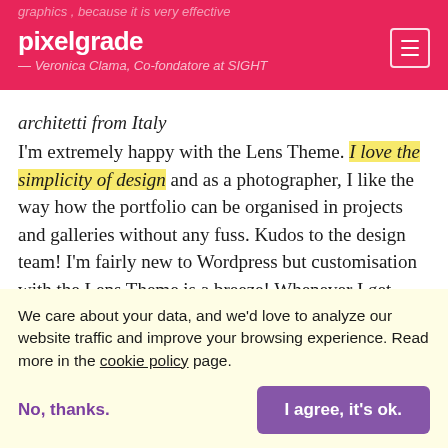pixelgrade
— Veronica Clama, Co-fondatore at SIGHT architetti from Italy
I'm extremely happy with the Lens Theme. I love the simplicity of design and as a photographer, I like the way how the portfolio can be organised in projects and galleries without any fuss. Kudos to the design team! I'm fairly new to Wordpress but customisation with the Lens Theme is a breeze! Whenever I get stuck I write to support and the response is super quick. I would like to especially
We care about your data, and we'd love to analyze our website traffic and improve your browsing experience. Read more in the cookie policy page.
No, thanks.
I agree, it's ok.